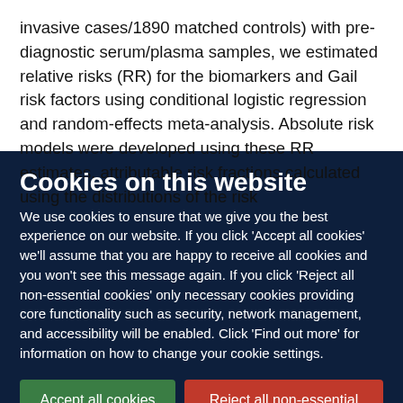invasive cases/1890 matched controls) with pre-diagnostic serum/plasma samples, we estimated relative risks (RR) for the biomarkers and Gail risk factors using conditional logistic regression and random-effects meta-analysis. Absolute risk models were developed using these RR estimates, attributable risk fractions calculated using the distributions of the risk
Cookies on this website
We use cookies to ensure that we give you the best experience on our website. If you click 'Accept all cookies' we'll assume that you are happy to receive all cookies and you won't see this message again. If you click 'Reject all non-essential cookies' only necessary cookies providing core functionality such as security, network management, and accessibility will be enabled. Click 'Find out more' for information on how to change your cookie settings.
Accept all cookies
Reject all non-essential cookies